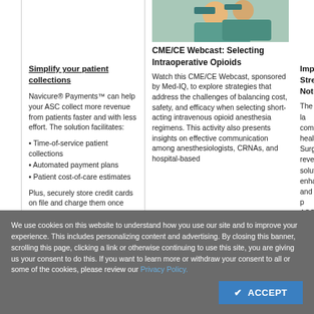[Figure (photo): Photo of medical professionals in surgical masks and scrubs, partially visible at top of page]
Simplify your patient collections
Navicure® Payments™ can help your ASC collect more revenue from patients faster and with less effort. The solution facilitates:
• Time-of-service patient collections
• Automated payment plans
• Patient cost-of-care estimates
Plus, securely store credit cards on file and charge them once patient financial responsibility is determined.
Click here to learn more.
CME/CE Webcast: Selecting Intraoperative Opioids
Watch this CME/CE Webcast, sponsored by Med-IQ, to explore strategies that address the challenges of balancing cost, safety, and efficacy when selecting short-acting intravenous opioid anesthesia regimens. This activity also presents insights on effective communication among anesthesiologists, CRNAs, and hospital-based
Impro… Stren… Notes…
The la… comp… health… Surgi… reven… soluti… enha… and p… ASCs… accel… and i… our s… inclu… docu… electr…
We use cookies on this website to understand how you use our site and to improve your experience. This includes personalizing content and advertising. By closing this banner, scrolling this page, clicking a link or otherwise continuing to use this site, you are giving us your consent to do this. If you want to learn more or withdraw your consent to all or some of the cookies, please review our Privacy Policy.